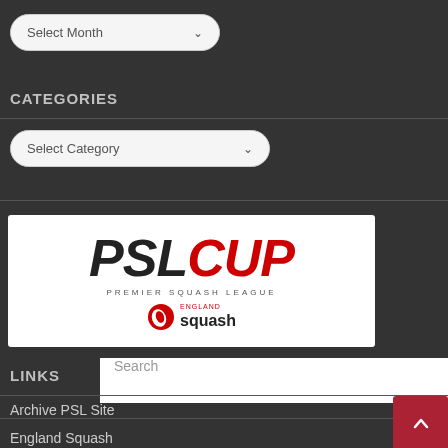Select Month
CATEGORIES
Select Category
[Figure (logo): PSL CUP Premier Squash League logo with England Squash branding]
Search
LINKS
Archive PSL Site
England Squash